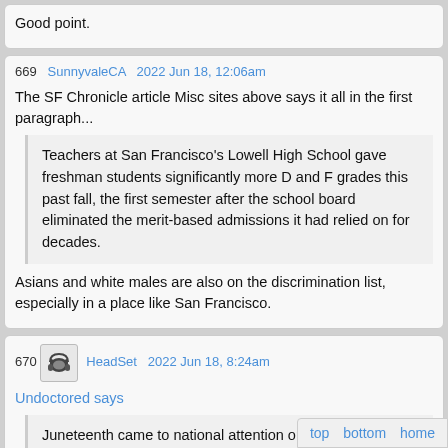Good point.
669   SunnyvaleCA   2022 Jun 18, 12:06am
The SF Chronicle article Misc sites above says it all in the first paragraph...
Teachers at San Francisco's Lowell High School gave freshman students significantly more D and F grades this past fall, the first semester after the school board eliminated the merit-based admissions it had relied on for decades.
Asians and white males are also on the discrimination list, especially in a place like San Francisco.
670   HeadSet   2022 Jun 18, 8:24am
Undoctored says
Juneteenth came to national attention on F...